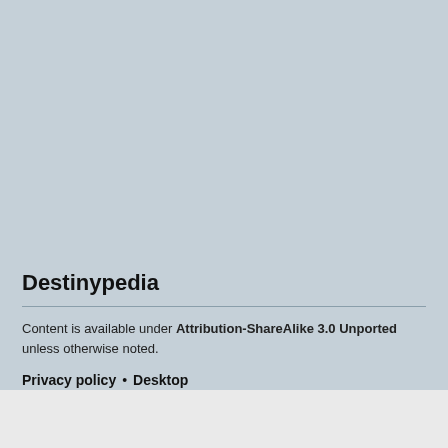Destinypedia
Content is available under Attribution-ShareAlike 3.0 Unported unless otherwise noted.
Privacy policy • Desktop